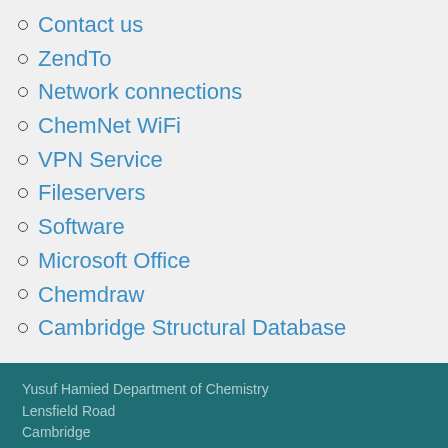Contact us
ZendTo
Network connections
ChemNet WiFi
VPN Service
Fileservers
Software
Microsoft Office
Chemdraw
Cambridge Structural Database
Yusuf Hamied Department of Chemistry
Lensfield Road
Cambridge
CB2 1EW
T: +44 (0) 1223 336300
enquiries@ch.cam.ac.uk

Contacts
Directions